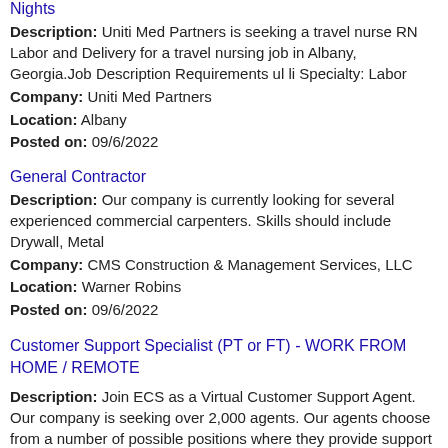Nights
Description: Uniti Med Partners is seeking a travel nurse RN Labor and Delivery for a travel nursing job in Albany, Georgia.Job Description Requirements ul li Specialty: Labor
Company: Uniti Med Partners
Location: Albany
Posted on: 09/6/2022
General Contractor
Description: Our company is currently looking for several experienced commercial carpenters. Skills should include Drywall, Metal
Company: CMS Construction & Management Services, LLC
Location: Warner Robins
Posted on: 09/6/2022
Customer Support Specialist (PT or FT) - WORK FROM HOME / REMOTE
Description: Join ECS as a Virtual Customer Support Agent. Our company is seeking over 2,000 agents. Our agents choose from a number of possible positions where they provide support to customers from the comfort of (more...)
Company: ECS Virtual Support, LLC
Location: Warner Robins